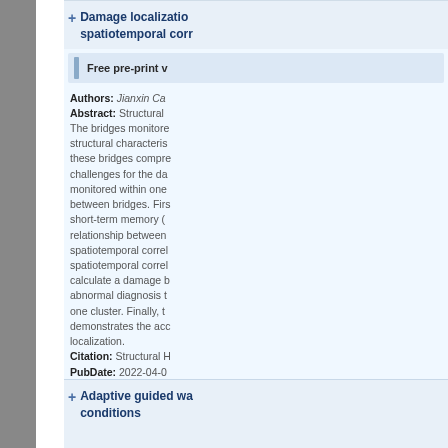Damage localization spatiotemporal corr...
Free pre-print v...
Authors: Jianxin Ca... Abstract: Structural ... The bridges monitore... structural characteris... these bridges compre... challenges for the da... monitored within one... between bridges. Firs... short-term memory (... relationship between... spatiotemporal correl... spatiotemporal correl... calculate a damage b... abnormal diagnosis t... one cluster. Finally, t... demonstrates the acc... localization. Citation: Structural H... PubDate: 2022-04-0... DOI: 10.1177/147591...
Adaptive guided wa... conditions